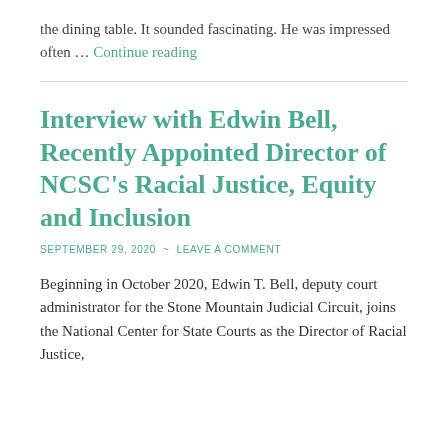the dining table. It sounded fascinating. He was impressed often … Continue reading
Interview with Edwin Bell, Recently Appointed Director of NCSC's Racial Justice, Equity and Inclusion
SEPTEMBER 29, 2020  ~  LEAVE A COMMENT
Beginning in October 2020, Edwin T. Bell, deputy court administrator for the Stone Mountain Judicial Circuit, joins the National Center for State Courts as the Director of Racial Justice,